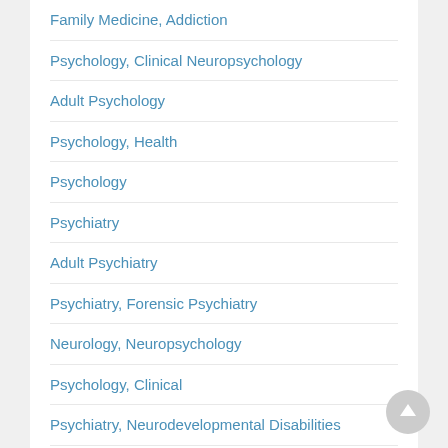Family Medicine, Addiction
Psychology, Clinical Neuropsychology
Adult Psychology
Psychology, Health
Psychology
Psychiatry
Adult Psychiatry
Psychiatry, Forensic Psychiatry
Neurology, Neuropsychology
Psychology, Clinical
Psychiatry, Neurodevelopmental Disabilities
Psychology, Adult Development And Aging
UCLA MEDICAL SERVICES